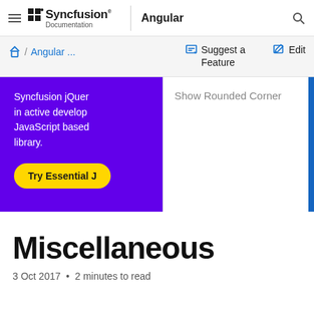Syncfusion Documentation | Angular
Angular ... / Suggest a Feature / Edit
[Figure (screenshot): Purple promotional banner showing Syncfusion jQuery text in active development, JavaScript based library, with a Try Essential J button in yellow, and Show Rounded Corner text on the right side.]
Miscellaneous
3 Oct 2017  •  2 minutes to read